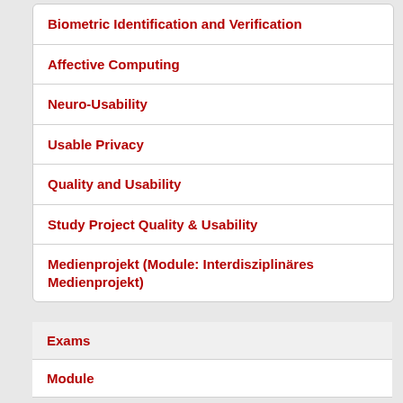Biometric Identification and Verification
Affective Computing
Neuro-Usability
Usable Privacy
Quality and Usability
Study Project Quality & Usability
Medienprojekt (Module: Interdisziplinäres Medienprojekt)
Exams
Module